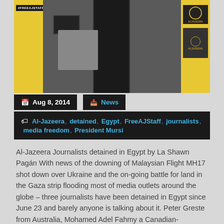[Figure (photo): Al-Jazeera newsroom with yellow door frames, #FREEAJSTAFF sign on left, Al Jazeera logos on right panel, person working at desk in background]
Aug 8, 2014
News
Al-Jazeera, detained, Egypt, FreeAJStaff, journalists, media freedom, President Mursi
Al-Jazeera Journalists detained in Egypt by La Shawn Pagán With news of the downing of Malaysian Flight MH17 shot down over Ukraine and the on-going battle for land in the Gaza strip flooding most of media outlets around the globe – three journalists have been detained in Egypt since June 23 and barely anyone is talking about it. Peter Greste from Australia, Mohamed Adel Fahmy a Canadian-Egyptian, and Egyptian Baher Mohamed,